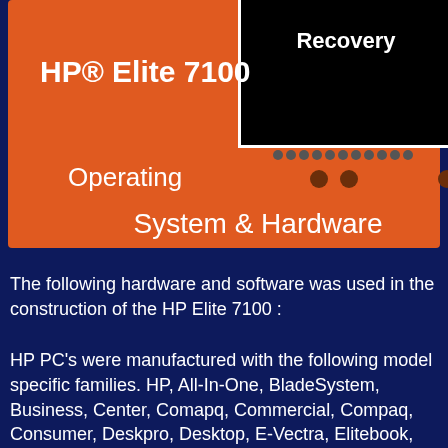[Figure (other): Orange cover box with HP Elite 7100 PC Recovery label, black inset box with white border showing 'Recovery', navigation dots, 'Operating', and 'System & Hardware' text on dark blue background]
The following hardware and software was used in the construction of the HP Elite 7100 :
HP PC's were manufactured with the following model specific families. HP, All-In-One, BladeSystem, Business, Center, Comapq, Commercial, Compaq, Consumer, Deskpro, Desktop, E-Vectra, Elitebook, Externals, Factory, Family, Firebird, Heatsink, Integrity, KIT-SMART, Lenovo, mediacenter, Mobile,